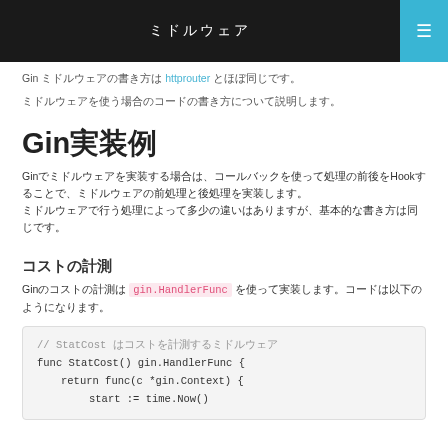ミドルウェア
Gin ミドルウェアの書き方は httprouter とほぼ同じです。
ミドルウェアを使う場合のコードの書き方について説明します。
Gin実装例
Ginでミドルウェアを実装する場合は、コールバックを使って処理の前後をHookすることで、ミドルウェアの前処理と後処理を実装します。ミドルウェアで行う処理によって多少の違いはありますが、基本的な書き方は同じです。
コストの計測
Ginのコストの計測は gin.HandlerFunc を使って実装します。コードは以下のようになります。
// StatCost はコストを計測するミドルウェア
func StatCost() gin.HandlerFunc {
        return func(c *gin.Context) {
                start := time.Now()